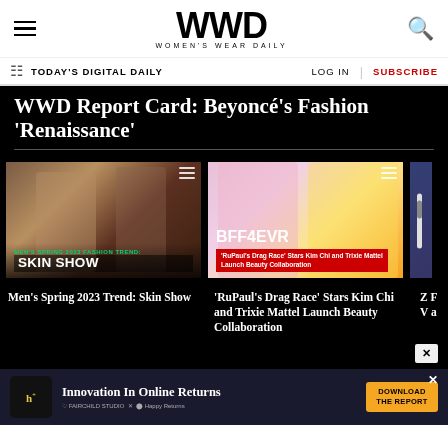WWD Women's Wear Daily
TODAY'S DIGITAL DAILY | LOG IN | SUBSCRIBE
WWD Report Card: Beyoncé's Fashion 'Renaissance'
[Figure (screenshot): Video thumbnail - Men's Spring 2023 Fashion Trend: Skin Show]
Men's Spring 2023 Trend: Skin Show
[Figure (screenshot): Video thumbnail - BFF4EVR: RuPaul's Drag Race Stars Kim Chi and Trixie Mattel Launch Beauty Collaboration]
'RuPaul's Drag Race' Stars Kim Chi and Trixie Mattel Launch Beauty Collaboration
[Figure (advertisement): Ad banner: Innovation In Online Returns - Download The Report. Happy Returns collaboration ad.]